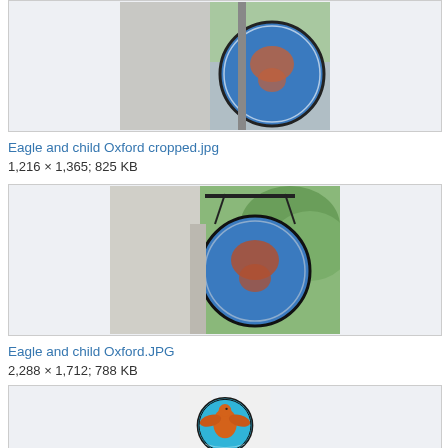[Figure (photo): Top of a circular pub sign reading 'Eagle and Child' mounted on a post, partially cropped, against blue sky and foliage.]
Eagle and child Oxford cropped.jpg
1,216 × 1,365; 825 KB
[Figure (photo): Circular pub sign for 'Eagle and Child' Oxford hanging from a bracket on a building wall, surrounded by green trees.]
Eagle and child Oxford.JPG
2,288 × 1,712; 788 KB
[Figure (photo): Circular pub sign showing an orange eagle on a bright blue background, partially visible, with text around the border.]